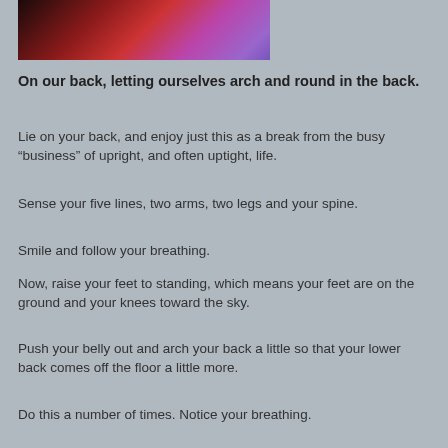[Figure (photo): Partial view of a reddish-purple abstract or atmospheric photo, cropped at the top of the page]
On our back, letting ourselves arch and round in the back.
Lie on your back, and enjoy just this as a break from the busy “business” of upright, and often uptight, life.
Sense your five lines, two arms, two legs and your spine.
Smile and follow your breathing.
Now, raise your feet to standing, which means your feet are on the ground and your knees toward the sky.
Push your belly out and arch your back a little so that your lower back comes off the floor a little more.
Do this a number of times. Notice your breathing.